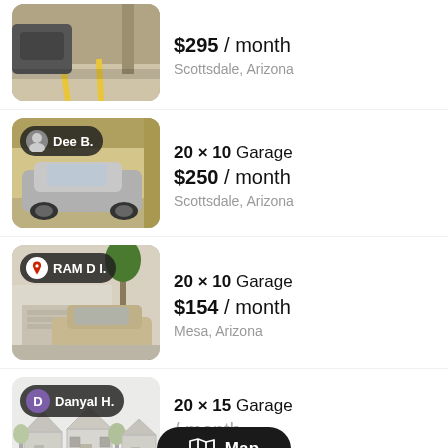[Figure (photo): Parking garage interior with cars and yellow lane markings, no badge shown]
$295 / month
Scottsdale, Arizona
[Figure (photo): Covered carport/garage with silver car, Dee B. badge in top-left corner]
20 × 10 Garage
$250 / month
Scottsdale, Arizona
[Figure (photo): Exterior garage/driveway with beige SUV and palm tree, RAM D I. badge with pin icon]
20 × 10 Garage
$154 / month
Mesa, Arizona
[Figure (illustration): Placeholder house illustration with Danyal H. purple badge]
20 × 15 Garage
/ month
Mesa, Arizona
[Figure (screenshot): Map button overlay showing map icon and 'Map' text in dark pill]